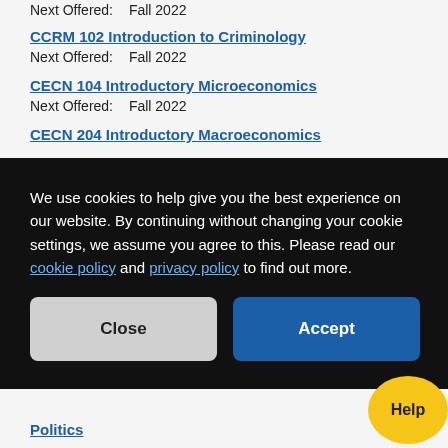Next Offered:   Fall 2022
CCRM 102 Introduction to Criminology
Next Offered:   Fall 2022
CECN 104 Introductory Microeconomics
Next Offered:   Fall 2022
CECN 204 Introductory Macroeconomics
We use cookies to help give you the best experience on our website. By continuing without changing your cookie settings, we assume you agree to this. Please read our cookie policy and privacy policy to find out more.
Close
Accept
Politics